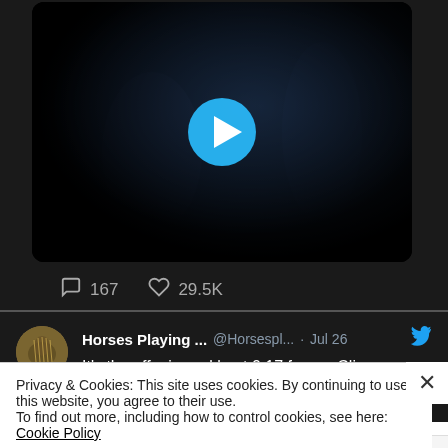[Figure (screenshot): Dark video player with play button overlay showing two figures in dim lighting]
167   29.5K
[Figure (screenshot): Tweet from Horses Playing ... @Horsespl... · Jul 26 — It's the off mic cackle at 0.17 for me Clive]
Privacy & Cookies: This site uses cookies. By continuing to use this website, you agree to their use.
To find out more, including how to control cookies, see here: Cookie Policy
Close and accept